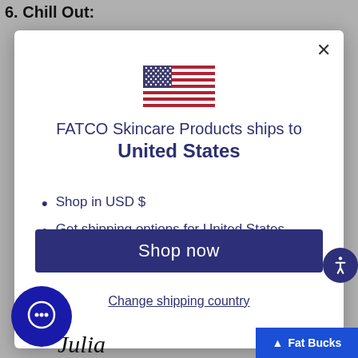6. Chill Out:
[Figure (screenshot): Modal dialog showing a US flag icon, text 'FATCO Skincare Products ships to United States', bullet points 'Shop in USD $' and 'Get shipping options for United States', a dark blue 'Shop now' button, and a 'Change shipping country' link. Also visible: accessibility button, chat circle, Julia signature, and Fat Bucks button.]
FATCO Skincare Products ships to United States
Shop in USD $
Get shipping options for United States
Shop now
Change shipping country